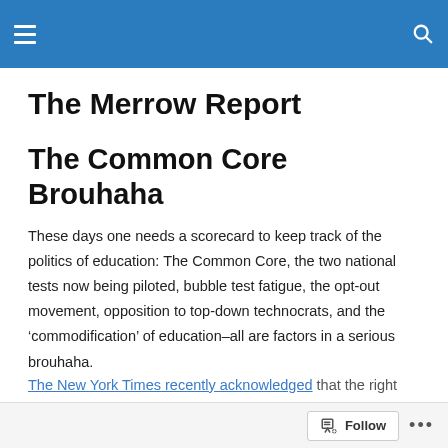The Merrow Report [navigation header]
The Merrow Report
The Common Core Brouhaha
These days one needs a scorecard to keep track of the politics of education: The Common Core, the two national tests now being piloted, bubble test fatigue, the opt-out movement, opposition to top-down technocrats, and the ‘commodification’ of education–all are factors in a serious brouhaha.
The New York Times recently acknowledged that the right
Follow …